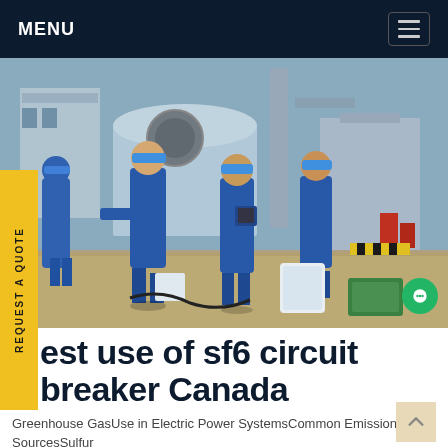MENU
[Figure (photo): Industrial workers in blue coveralls and blue hard hats working at an industrial facility with large cylindrical equipment, pipes, and machinery in the background.]
est use of sf6 circuit breaker Canada
Greenhouse GasUse in Electric Power SystemsCommon Emission SourcesSulfur